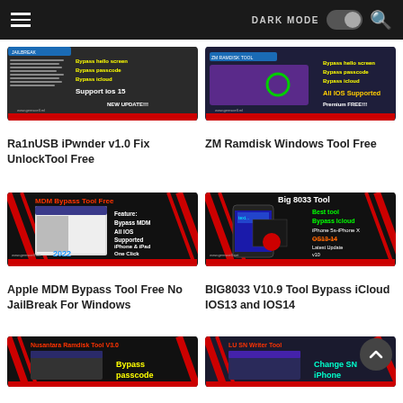DARK MODE [toggle] [search]
[Figure (screenshot): Thumbnail for Ra1nUSB iPwnder v1.0 Fix UnlockTool Free - dark background with text: Bypass hello screen, Bypass passcode, Bypass icloud, Support ios 15, NEW UPDATE!!!]
Ra1nUSB iPwnder v1.0 Fix UnlockTool Free
[Figure (screenshot): Thumbnail for ZM Ramdisk Windows Tool Free - dark/purple background with text: Bypass hello screen, Bypass passcode, Bypass icloud, All IOS Supported, Premium FREE!!!]
ZM Ramdisk Windows Tool Free
[Figure (screenshot): Thumbnail for Apple MDM Bypass Tool Free - red/black background with text: MDM Bypass Tool Free, Feature: Bypass MDM All IOS Supported iPhone & iPad One Click, 2022]
Apple MDM Bypass Tool Free No JailBreak For Windows
[Figure (screenshot): Thumbnail for BIG8033 V10.9 Tool Bypass iCloud IOS13 and IOS14 - red/black background with Big 8033 Tool, Best tool Bypass Icloud, iPhone 5s-iPhone X, OS13-14, Latest Update v10]
BIG8033 V10.9 Tool Bypass iCloud IOS13 and IOS14
[Figure (screenshot): Thumbnail for Nusantara Ramdisk Tool V3.0 - red/black with text Bypass passcode]
[Figure (screenshot): Thumbnail for LU SN Writer Tool - purple/dark with text Change SN iPhone]